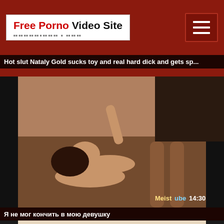Free Porno Video Site
Hot slut Nataly Gold sucks toy and real hard dick and gets sp...
[Figure (photo): Video thumbnail showing adult content. Watermark: Meistube 14:30]
Я не мог кончить в мою девушку
[Figure (photo): Partial video thumbnail of second video, showing a woman in a teal top]